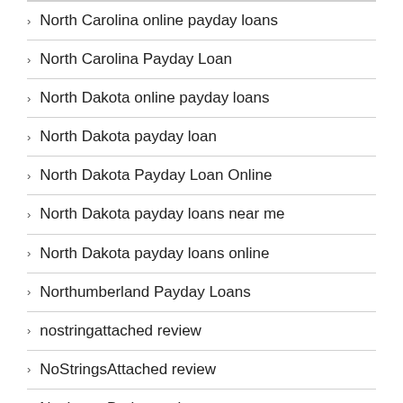North Carolina online payday loans
North Carolina Payday Loan
North Dakota online payday loans
North Dakota payday loan
North Dakota Payday Loan Online
North Dakota payday loans near me
North Dakota payday loans online
Northumberland Payday Loans
nostringattached review
NoStringsAttached review
Nuchtern-Dating preise